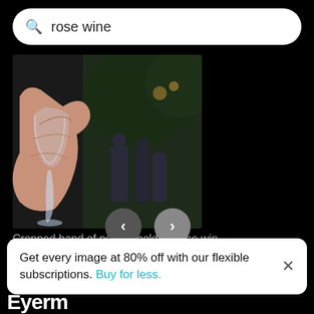rose wine
[Figure (photo): A hand holding a wine glass (rose wine) at an outdoor event with bokeh lights in the background]
Cropped hand of person holding rose win...
Get every image at 80% off with our flexible subscriptions. Buy for less.
Eyerm